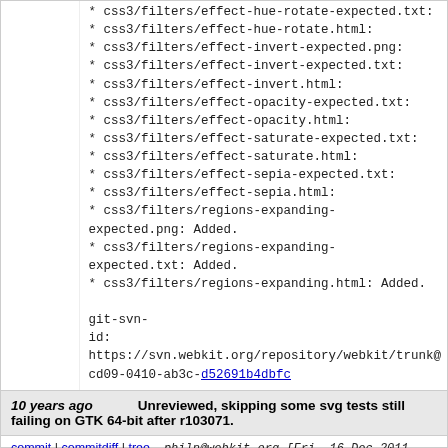* css3/filters/effect-hue-rotate-expected.txt:
* css3/filters/effect-hue-rotate.html:
* css3/filters/effect-invert-expected.png:
* css3/filters/effect-invert-expected.txt:
* css3/filters/effect-invert.html:
* css3/filters/effect-opacity-expected.txt:
* css3/filters/effect-opacity.html:
* css3/filters/effect-saturate-expected.txt:
* css3/filters/effect-saturate.html:
* css3/filters/effect-sepia-expected.txt:
* css3/filters/effect-sepia.html:
* css3/filters/regions-expanding-expected.png: Added.
* css3/filters/regions-expanding-expected.txt: Added.
* css3/filters/regions-expanding.html: Added.
git-svn-id: https://svn.webkit.org/repository/webkit/trunk@cd09-0410-ab3c-d52691b4dbfc
10 years ago    Unreviewed, skipping some svg tests still failing on GTK 64-bit after r103071.
commit | commitdiff | tree    philn@webkit.org [Fri, 16 Dec 2011 17:52:04 +0000 (17:52 +0000)]
Unreviewed, skipping some svg tests still failing on GTK 64-bit after r103071.